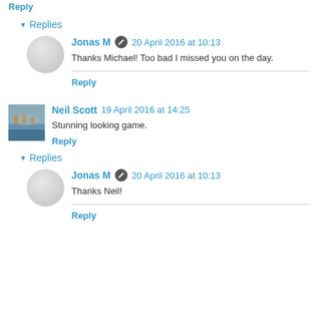Reply
▼ Replies
Jonas M  20 April 2016 at 10:13
Thanks Michael! Too bad I missed you on the day.
Reply
Neil Scott  19 April 2016 at 14:25
Stunning looking game.
Reply
▼ Replies
Jonas M  20 April 2016 at 10:13
Thanks Neil!
Reply